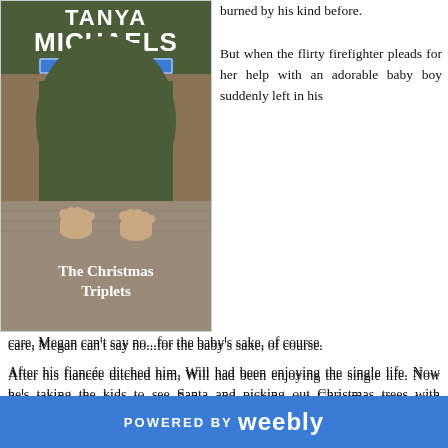[Figure (illustration): Book cover for 'The Christmas Triplets' by Tanya Michaels, Cupid's Bow, Texas series. Shows two children's bare feet on a rug in front of a green-clothed figure.]
burned by his kind before.
But when the flirty firefighter pleads for her help with an adorable baby boy suddenly left in his care, Megan can't say no...for the baby's sake, of course.
After his fiancée ditched him, Will had been enjoying the single life. Now he's taking the kids to see Santa and picking out Christmas trees with Megan, and he realizes he likes being a family man.
Will's ready to give love another chance, but can he convince Megan to do the same?
POWERED BY weebly